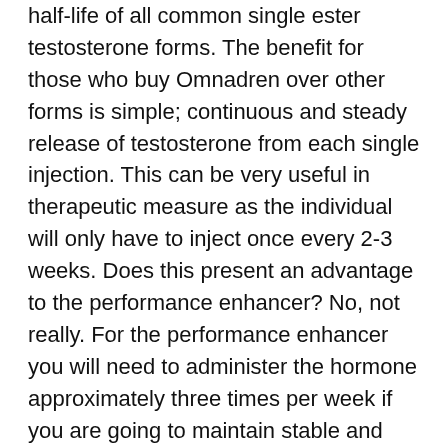half-life of all common single ester testosterone forms. The benefit for those who buy Omnadren over other forms is simple; continuous and steady release of testosterone from each single injection. This can be very useful in therapeutic measure as the individual will only have to inject once every 2-3 weeks. Does this present an advantage to the performance enhancer? No, not really. For the performance enhancer you will need to administer the hormone approximately three times per week if you are going to maintain stable and peak levels of testosterone. This is due to the Propionate and Phenylpropionate esters being attached as they will be out of your system very quickly. In the end, the only reason to buy Omnadren over a single ester form is if you are getting a good deal on it as it truly does not present an advantage over single ester forms in any direct sense of benefit. It's no better and it's no worse.
Buy Omnadren Legitimately